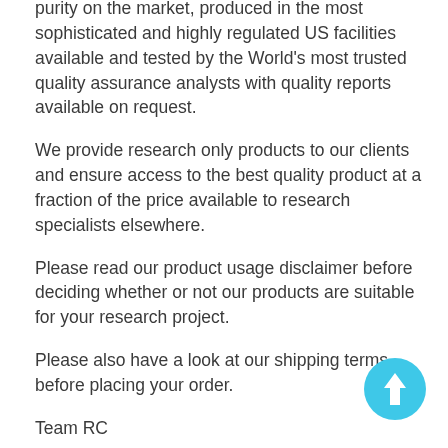purity on the market, produced in the most sophisticated and highly regulated US facilities available and tested by the World's most trusted quality assurance analysts with quality reports available on request.
We provide research only products to our clients and ensure access to the best quality product at a fraction of the price available to research specialists elsewhere.
Please read our product usage disclaimer before deciding whether or not our products are suitable for your research project.
Please also have a look at our shipping terms before placing your order.
Team RC